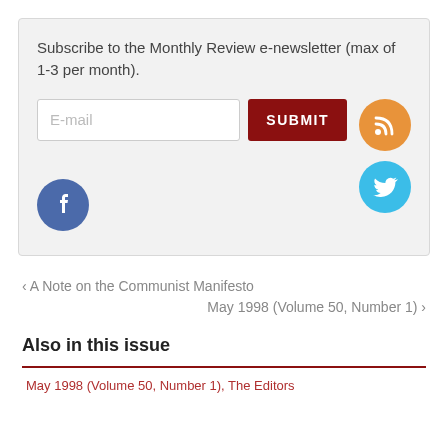Subscribe to the Monthly Review e-newsletter (max of 1-3 per month).
[Figure (screenshot): Email subscription form with E-mail input field, SUBMIT button (dark red), RSS icon (orange circle), Twitter bird icon (blue circle), and Facebook f icon (steel blue circle)]
‹ A Note on the Communist Manifesto
May 1998 (Volume 50, Number 1) ›
Also in this issue
May 1998 (Volume 50, Number 1), The Editors